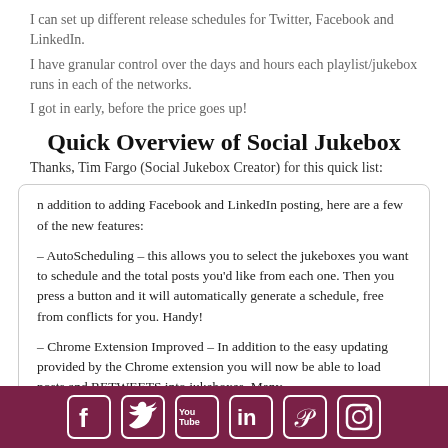I can set up different release schedules for Twitter, Facebook and LinkedIn.
I have granular control over the days and hours each playlist/jukebox runs in each of the networks.
I got in early, before the price goes up!
Quick Overview of Social Jukebox
Thanks, Tim Fargo (Social Jukebox Creator) for this quick list:
n addition to adding Facebook and LinkedIn posting, here are a few of the new features:

– AutoScheduling – this allows you to select the jukeboxes you want to schedule and the total posts you'd like from each one. Then you press a button and it will automatically generate a schedule, free from conflicts for you. Handy!

– Chrome Extension Improved – In addition to the easy updating provided by the Chrome extension you will now be able to load posts and RETWEETS into jukeboxes. Many
[Figure (infographic): Footer bar with social media icons: Facebook, Twitter, YouTube, LinkedIn, Pinterest, Instagram on a dark maroon/burgundy background]